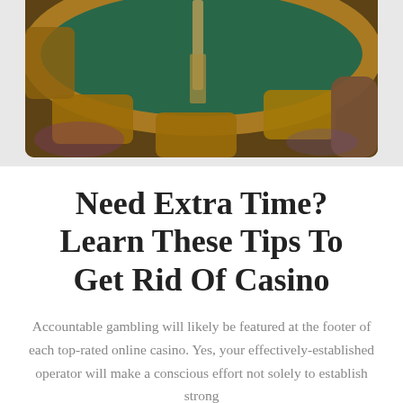[Figure (photo): A roulette or gaming table viewed from above, showing a green felt table surface with a gold/bronze rim, a tall glass in the center, gold/brown padded seats around the edges, and a person's arm on the right side. Casino setting with warm amber lighting.]
Need Extra Time? Learn These Tips To Get Rid Of Casino
Accountable gambling will likely be featured at the footer of each top-rated online casino. Yes, your effectively-established operator will make a conscious effort not solely to establish strong